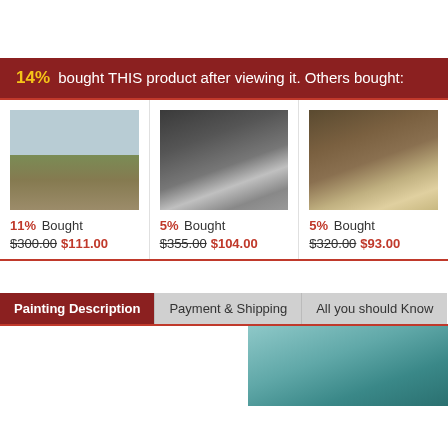14% bought THIS product after viewing it. Others bought:
[Figure (photo): Landscape painting with calm coastal scene, muted greens and grey sky]
11% Bought $300.00 $111.00
[Figure (photo): Stormy seascape with dramatic rocky cliffs and crashing waves, dark tones]
5% Bought $355.00 $104.00
[Figure (photo): Seascape painting with stormy brown and golden tones, waves and clouds]
5% Bought $320.00 $93.00
Painting Description
Payment & Shipping
All you should Know
[Figure (photo): Partial painting detail showing teal/turquoise tones]